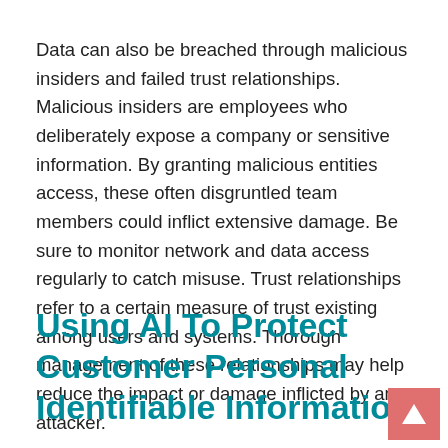Data can also be breached through malicious insiders and failed trust relationships. Malicious insiders are employees who deliberately expose a company or sensitive information. By granting malicious entities access, these often disgruntled team members could inflict extensive damage. Be sure to monitor network and data access regularly to catch misuse. Trust relationships refer to a certain measure of trust existing among users and systems. Thorough management of these relationships may help reduce the impact or damage inflicted by an attacker.
Using AI To Protect Customer Personal Identifiable Information